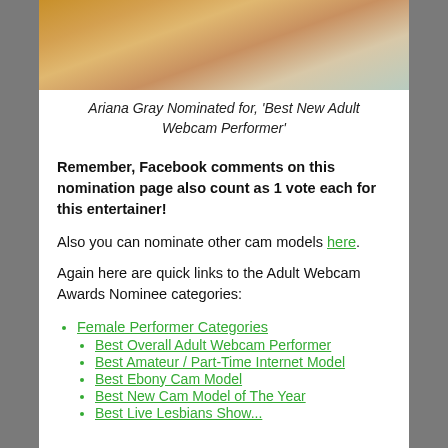[Figure (photo): Partial photo of a person, cropped at top of page]
Ariana Gray Nominated for, 'Best New Adult Webcam Performer'
Remember, Facebook comments on this nomination page also count as 1 vote each for this entertainer!
Also you can nominate other cam models here.
Again here are quick links to the Adult Webcam Awards Nominee categories:
Female Performer Categories
Best Overall Adult Webcam Performer
Best Amateur / Part-Time Internet Model
Best Ebony Cam Model
Best New Cam Model of The Year
Best Live Lesbians Show...